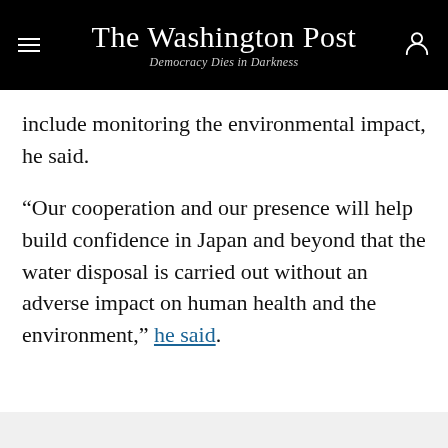The Washington Post — Democracy Dies in Darkness
include monitoring the environmental impact, he said.
“Our cooperation and our presence will help build confidence in Japan and beyond that the water disposal is carried out without an adverse impact on human health and the environment,” he said.